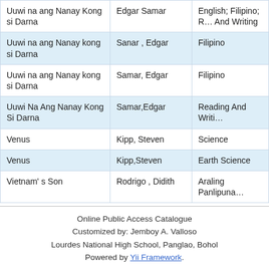| Title | Author | Subject |
| --- | --- | --- |
| Uuwi na ang Nanay Kong si Darna | Edgar Samar | English; Filipino; R… And Writing |
| Uuwi na ang Nanay kong si Darna | Sanar , Edgar | Filipino |
| Uuwi na ang Nanay kong si Darna | Samar, Edgar | Filipino |
| Uuwi Na Ang Nanay Kong Si Darna | Samar,Edgar | Reading And Writi… |
| Venus | Kipp, Steven | Science |
| Venus | Kipp,Steven | Earth Science |
| Vietnam' s Son | Rodrigo , Didith | Araling Panlipuna… |
Online Public Access Catalogue
Customized by: Jemboy A. Valloso
Lourdes National High School, Panglao, Bohol
Powered by Yii Framework.